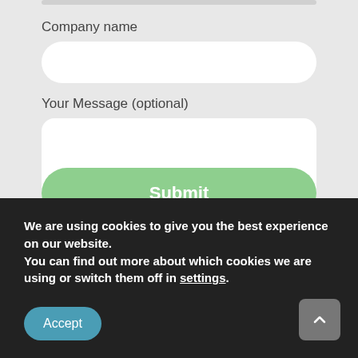Company name
[Figure (screenshot): Empty text input field with rounded corners for Company name]
Your Message (optional)
[Figure (screenshot): Empty textarea with rounded corners and resize handle for Your Message]
[Figure (screenshot): Green rounded Submit button]
We are using cookies to give you the best experience on our website.
You can find out more about which cookies we are using or switch them off in settings.
[Figure (screenshot): Teal Accept button on cookie banner]
[Figure (screenshot): Grey arrow up button on cookie banner]